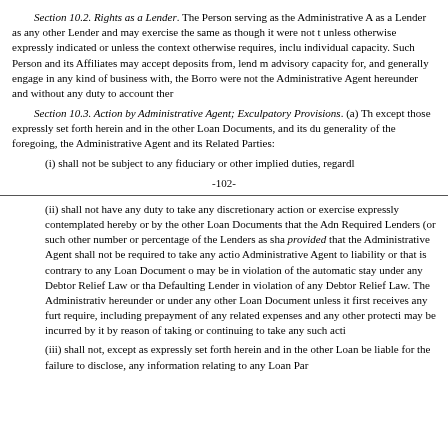Section 10.2. Rights as a Lender. The Person serving as the Administrative Agent as a Lender as any other Lender and may exercise the same as though it were not the unless otherwise expressly indicated or unless the context otherwise requires, including individual capacity. Such Person and its Affiliates may accept deposits from, lend money to, advisory capacity for, and generally engage in any kind of business with, the Borrower as if it were not the Administrative Agent hereunder and without any duty to account therefor.
Section 10.3. Action by Administrative Agent; Exculpatory Provisions. (a) The Administrative Agent shall have no duties or obligations except those expressly set forth herein and in the other Loan Documents, and its duties shall be administrative in nature. Without limiting the generality of the foregoing, the Administrative Agent and its Related Parties:
(i) shall not be subject to any fiduciary or other implied duties, regardless
-102-
(ii) shall not have any duty to take any discretionary action or exercise any discretionary power, expressly contemplated hereby or by the other Loan Documents that the Administrative Agent is required by Required Lenders (or such other number or percentage of the Lenders as shall be necessary under the circumstances); provided that the Administrative Agent shall not be required to take any action that, in its opinion or the opinion of its counsel, may expose the Administrative Agent to liability or that is contrary to any Loan Document or applicable law, including for the avoidance of doubt any action that may be in violation of the automatic stay under any Debtor Relief Law or that may effect a forfeiture, modification or termination of property of a Defaulting Lender in violation of any Debtor Relief Law. The Administrative Agent shall not be required to take any action hereunder or under any other Loan Document unless it first receives any further assurances from the Lenders that it may require, including prepayment of any related expenses and any other protection against losses and liabilities that may be incurred by it by reason of taking or continuing to take any such action.
(iii) shall not, except as expressly set forth herein and in the other Loan Documents, be liable for the failure to disclose, any information relating to any Loan Party or any of its Affiliates that is...